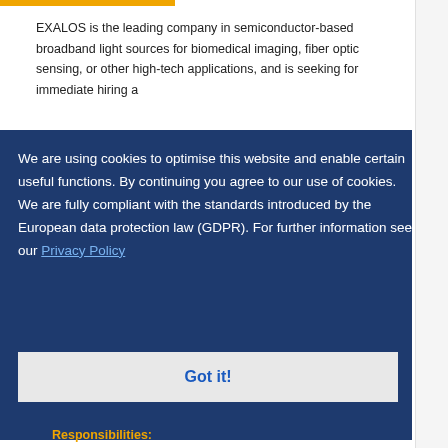EXALOS is the leading company in semiconductor-based broadband light sources for biomedical imaging, fiber optic sensing, or other high-tech applications, and is seeking for immediate hiring a part-time (60%) or full-time (100%)
We are using cookies to optimise this website and enable certain useful functions. By continuing you agree to our use of cookies. We are fully compliant with the standards introduced by the European data protection law (GDPR). For further information see our Privacy Policy
Got it!
Responsibilities: